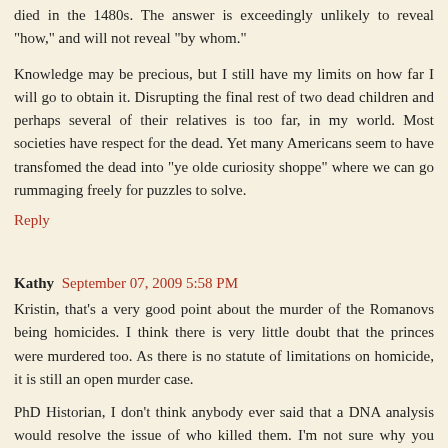died in the 1480s. The answer is exceedingly unlikely to reveal "how," and will not reveal "by whom."
Knowledge may be precious, but I still have my limits on how far I will go to obtain it. Disrupting the final rest of two dead children and perhaps several of their relatives is too far, in my world. Most societies have respect for the dead. Yet many Americans seem to have transfomed the dead into "ye olde curiosity shoppe" where we can go rummaging freely for puzzles to solve.
Reply
Kathy September 07, 2009 5:58 PM
Kristin, that's a very good point about the murder of the Romanovs being homicides. I think there is very little doubt that the princes were murdered too. As there is no statute of limitations on homicide, it is still an open murder case.
PhD Historian, I don't think anybody ever said that a DNA analysis would resolve the issue of who killed them. I'm not sure why you keep bringing that up, just to knock it down.